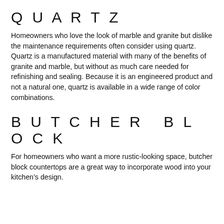QUARTZ
Homeowners who love the look of marble and granite but dislike the maintenance requirements often consider using quartz. Quartz is a manufactured material with many of the benefits of granite and marble, but without as much care needed for refinishing and sealing. Because it is an engineered product and not a natural one, quartz is available in a wide range of color combinations.
BUTCHER BLOCK
For homeowners who want a more rustic-looking space, butcher block countertops are a great way to incorporate wood into your kitchen’s design.